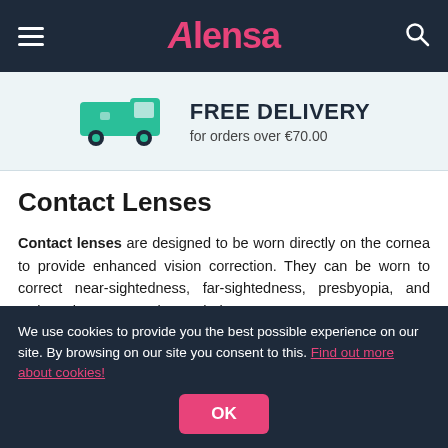Alensa
[Figure (infographic): Green delivery van icon with text FREE DELIVERY for orders over €70.00]
Contact Lenses
Contact lenses are designed to be worn directly on the cornea to provide enhanced vision correction. They can be worn to correct near-sightedness, far-sightedness, presbyopia, and astigmatism. Contact lenses help …
More information
We use cookies to provide you the best possible experience on our site. By browsing on our site you consent to this. Find out more about cookies!
OK